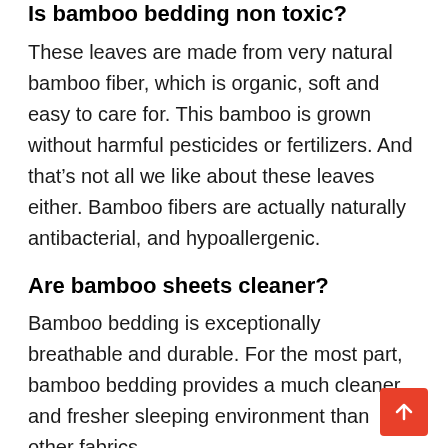Is bamboo bedding non toxic?
These leaves are made from very natural bamboo fiber, which is organic, soft and easy to care for. This bamboo is grown without harmful pesticides or fertilizers. And that's not all we like about these leaves either. Bamboo fibers are actually naturally antibacterial, and hypoallergenic.
Are bamboo sheets cleaner?
Bamboo bedding is exceptionally breathable and durable. For the most part, bamboo bedding provides a much cleaner and fresher sleeping environment than other fabrics.
Are bamboo sheets worth the hype?